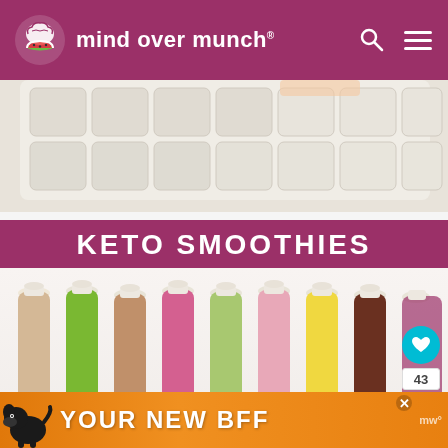[Figure (screenshot): Mind Over Munch website header with purple/magenta background, brain/burger logo, site name, search and hamburger menu icons]
[Figure (photo): Close-up photo of a white plastic ice cube tray from above, showing grid of empty cube compartments]
[Figure (photo): Keto Smoothies promotional image showing 9 colorful smoothie bottles in various colors (tan, green, pink, light green, pink, yellow, brown) with white lids arranged in a row. Features a 2019 Kickstart badge in green, heart/save button (teal), 43 count badge, and share button.]
[Figure (screenshot): Orange advertisement banner with black dog silhouette and text YOUR NEW BFF with close X button]